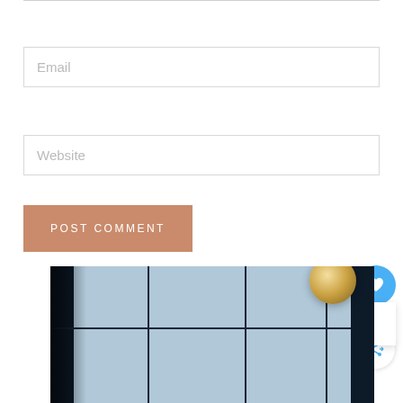Email
Website
POST COMMENT
[Figure (screenshot): Social sharing widget with heart/like button showing count of 1, and a share button]
[Figure (photo): Interior photo showing dark window frames with grid panes, bright daylight outside, and a gold globe pendant lamp on the right side]
WHAT'S NEXT → 12 Classic Stair Runner....